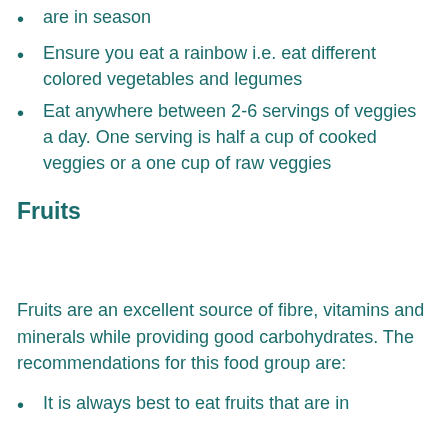are in season
Ensure you eat a rainbow i.e. eat different colored vegetables and legumes
Eat anywhere between 2-6 servings of veggies a day. One serving is half a cup of cooked veggies or a one cup of raw veggies
Fruits
Fruits are an excellent source of fibre, vitamins and minerals while providing good carbohydrates. The recommendations for this food group are:
It is always best to eat fruits that are in